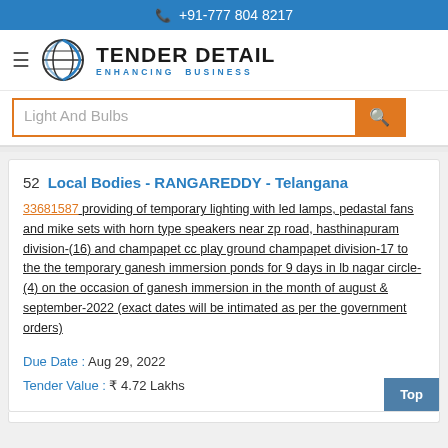+91-777 804 8217
[Figure (logo): Tender Detail logo with globe icon and tagline ENHANCING BUSINESS]
Light And Bulbs
52  Local Bodies - RANGAREDDY - Telangana
33681587  providing of temporary lighting with led lamps, pedastal fans and mike sets with horn type speakers near zp road, hasthinapuram division-(16) and champapet cc play ground champapet division-17 to the the temporary ganesh immersion ponds for 9 days in lb nagar circle-(4) on the occasion of ganesh immersion in the month of august & september-2022 (exact dates will be intimated as per the government orders)
Due Date :      Aug 29, 2022
Tender Value : ₹ 4.72 Lakhs